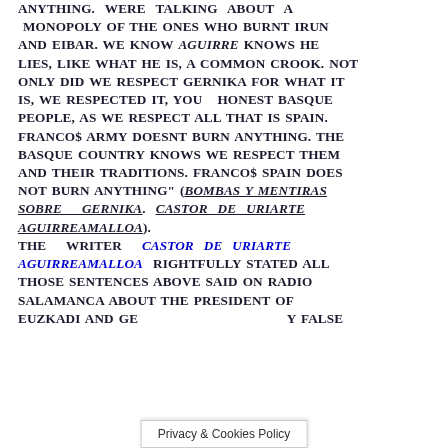ANYTHING. WERE TALKING ABOUT A MONOPOLY OF THE ONES WHO BURNT IRUN AND EIBAR. WE KNOW AGUIRRE KNOWS HE LIES, LIKE WHAT HE IS, A COMMON CROOK. NOT ONLY DID WE RESPECT GERNIKA FOR WHAT IT IS, WE RESPECTED IT, YOU HONEST BASQUE PEOPLE, AS WE RESPECT ALL THAT IS SPAIN. FRANCOS ARMY DOESNT BURN ANYTHING. THE BASQUE COUNTRY KNOWS WE RESPECT THEM AND THEIR TRADITIONS. FRANCOS SPAIN DOES NOT BURN ANYTHING" (BOMBAS Y MENTIRAS SOBRE GERNIKA. CASTOR DE URIARTE AGUIRREAMALLOA).
THE WRITER CASTOR DE URIARTE AGUIRREAMALLOA RIGHTFULLY STATED ALL THOSE SENTENCES ABOVE SAID ON RADIO SALAMANCA ABOUT THE PRESIDENT OF EUZKADI AND GE[RNIKA] Y FALSE